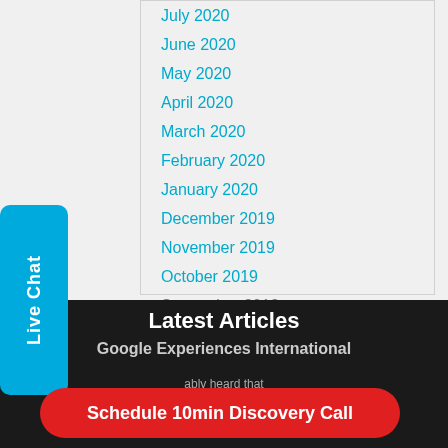July 2020
June 2020
May 2020
April 2020
March 2020
February 2020
January 2020
December 2019
November 2019
October 2019
September 2019
Latest Articles
Google Experiences International
ably heard that
Schedule 10min Discovery Call